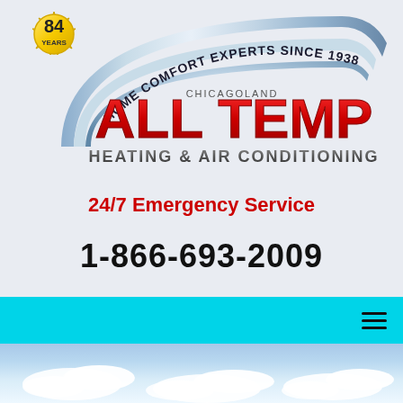[Figure (logo): Chicagoland All Temp Heating & Air Conditioning logo with chrome arc, red bold ALL TEMP text, and 84 Years gold starburst badge. Text reads: HOME COMFORT EXPERTS SINCE 1938, CHICAGOLAND, ALL TEMP, HEATING & AIR CONDITIONING]
24/7 Emergency Service
1-866-693-2009
[Figure (screenshot): Cyan/turquoise navigation bar with hamburger menu icon on the right]
[Figure (photo): Sky with white clouds photograph]